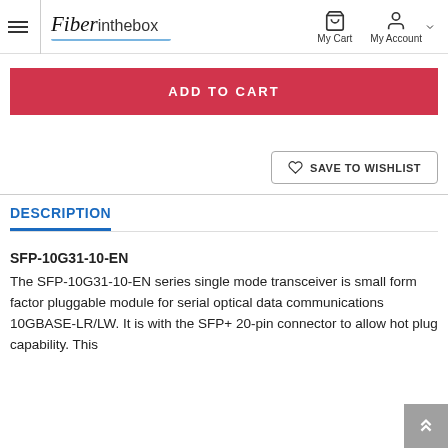Fiberinthebox — My Cart, My Account
ADD TO CART
SAVE TO WISHLIST
DESCRIPTION
SFP-10G31-10-EN
The SFP-10G31-10-EN series single mode transceiver is small form factor pluggable module for serial optical data communications 10GBASE-LR/LW. It is with the SFP+ 20-pin connector to allow hot plug capability. This